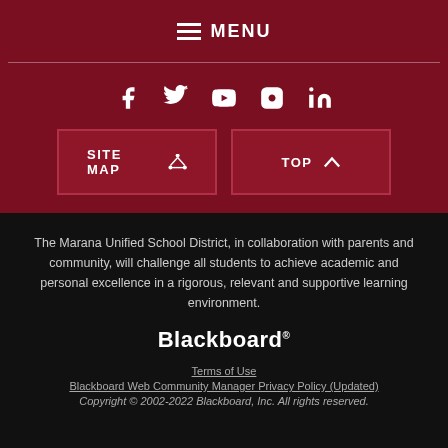MENU
[Figure (illustration): Social media icons: Facebook, Twitter, YouTube, Instagram, LinkedIn in white on dark red background]
SITE MAP
TOP
The Marana Unified School District, in collaboration with parents and community, will challenge all students to achieve academic and personal excellence in a rigorous, relevant and supportive learning environment.
[Figure (logo): Blackboard logo in white text]
Terms of Use
Blackboard Web Community Manager Privacy Policy (Updated)
Copyright © 2002-2022 Blackboard, Inc. All rights reserved.